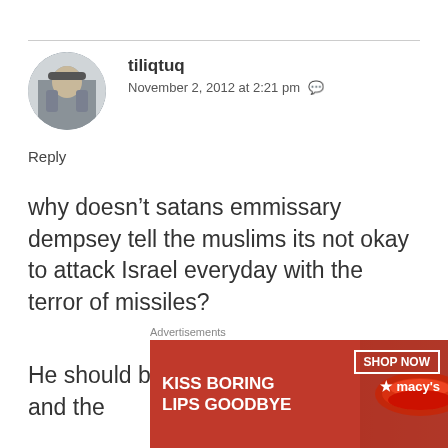[Figure (photo): Circular avatar photo of user tiliqtuq showing a person outdoors]
tiliqtuq
November 2, 2012 at 2:21 pm
Reply
why doesn’t satans emmissary dempsey tell the muslims its not okay to attack Israel everyday with the terror of missiles?
He should be meeting with abbas and the
[Figure (photo): Advertisement banner: KISS BORING LIPS GOODBYE - Macy's lipstick ad with red lips photo and SHOP NOW button]